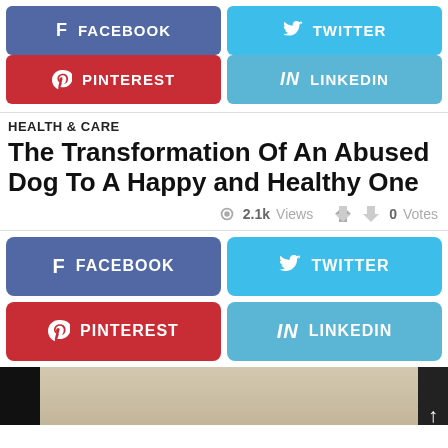[Figure (infographic): Social share buttons row 1: Facebook (blue-purple) and Twitter (light blue)]
[Figure (infographic): Social share buttons row 2: Pinterest (red) and LinkedIn (steel blue)]
HEALTH & CARE
The Transformation Of An Abused Dog To A Happy and Healthy One
2.1k Views  0 Votes
[Figure (infographic): Social share buttons row 1 bottom: Facebook (blue-purple) and Twitter (light blue)]
[Figure (infographic): Social share buttons row 2 bottom: Pinterest (red) and LinkedIn (steel blue)]
[Figure (photo): Partial photo strip of a dog, with black bars on left and right edges and a scroll-up arrow on the right]